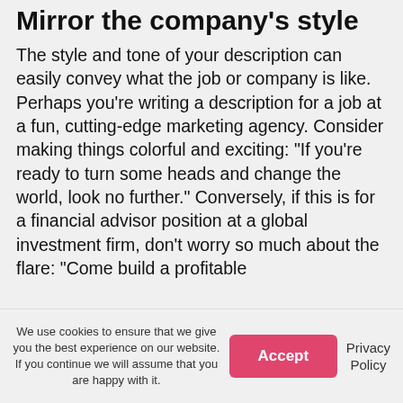Mirror the company's style
The style and tone of your description can easily convey what the job or company is like. Perhaps you're writing a description for a job at a fun, cutting-edge marketing agency. Consider making things colorful and exciting: "If you're ready to turn some heads and change the world, look no further." Conversely, if this is for a financial advisor position at a global investment firm, don't worry so much about the flare: "Come build a profitable
We use cookies to ensure that we give you the best experience on our website. If you continue we will assume that you are happy with it.
Accept
Privacy Policy